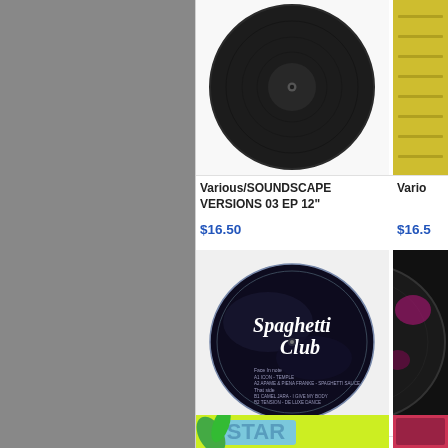[Figure (photo): Black vinyl record viewed from top, plain black label, on white background]
Various/SOUNDSCAPE VERSIONS 03 EP 12"
$16.50
[Figure (photo): Partial view of yellow/green textured album cover on the right edge]
Vario
$16.5
[Figure (photo): Spaghetti Club vinyl record label - dark navy blue with cursive 'Spaghetti Club' text and track listing]
Various/SPAGHETTI CLUB 002 12"
$15.00
[Figure (photo): Partial view of a dark vinyl record on right edge]
Vario
$18.0
[Figure (photo): Colorful album art with 'STAR' text in blue/green psychedelic style on yellow-green background]
[Figure (photo): Partial view of pink/red album cover on right edge]